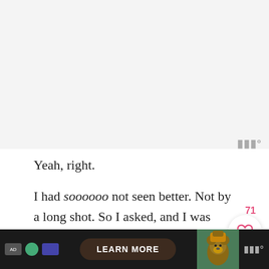[Figure (screenshot): Top gray area of a mobile reading app (Wattpad), with a Wattpad logo icon in the top right corner]
Yeah, right.
I had soooooo not seen better. Not by a long shot. So I asked, and I was rejected, about opening this wondrous basket. Nosireebob. This basket was only for display. Not for eating.
And as the law-abiding mini citizen that I was, I obeyed.
For a little while at least. 😊
[Figure (screenshot): Bottom advertisement bar with 'LEARN MORE' button and Smokey the Bear image, Wattpad app UI]